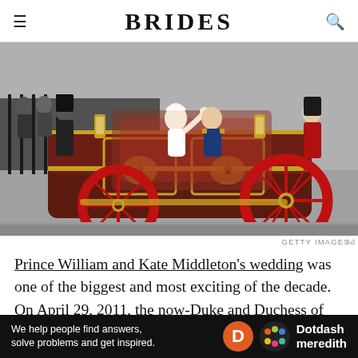BRIDES
[Figure (photo): Prince William and Kate Middleton riding in a royal dark maroon and gold carriage with red wheels, waving to crowds on their wedding day, accompanied by guards in red uniforms]
GETTY IMAGES
Prince William and Kate Middleton's wedding was one of the biggest and most exciting of the decade. On April 29, 2011, the now-Duke and Duchess of Cambridge tied
[Figure (infographic): Dotdash Meredith advertisement bar: 'We help people find answers, solve problems and get inspired.']